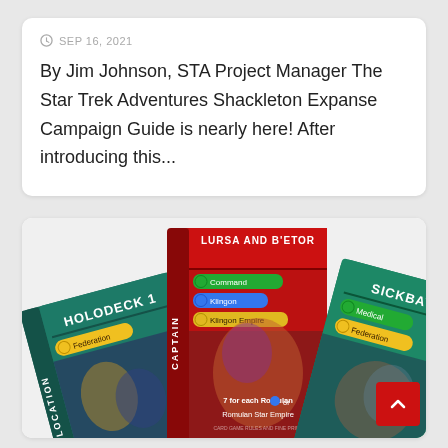SEP 16, 2021
By Jim Johnson, STA Project Manager The Star Trek Adventures Shackleton Expanse Campaign Guide is nearly here! After introducing this...
[Figure (photo): Three Star Trek Adventures game cards displayed: a red Captain card for 'Lursa and B'Etor', a teal Location card for 'Holodeck 1', and a teal Location card for 'Sickbay'.]